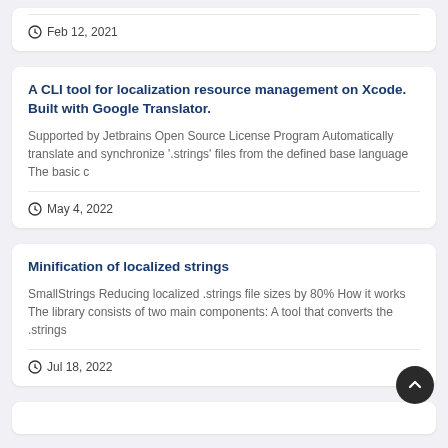Feb 12, 2021
A CLI tool for localization resource management on Xcode. Built with Google Translator.
Supported by Jetbrains Open Source License Program Automatically translate and synchronize '.strings' files from the defined base language The basic c
May 4, 2022
Minification of localized strings
SmallStrings Reducing localized .strings file sizes by 80% How it works The library consists of two main components: A tool that converts the .strings
Jul 18, 2022